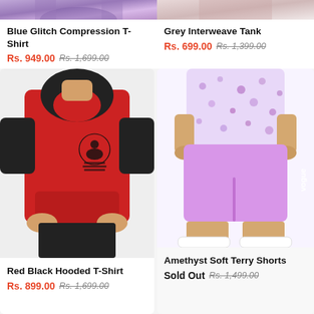[Figure (photo): Cropped top portion of a Blue Glitch Compression T-Shirt product photo]
[Figure (photo): Cropped top portion of a Grey Interweave Tank product photo]
Blue Glitch Compression T-Shirt
Rs. 949.00 Rs. 1,699.00
Grey Interweave Tank
Rs. 699.00 Rs. 1,399.00
[Figure (photo): Red and black hooded t-shirt worn by a male model, featuring a meditation graphic print on the chest]
Red Black Hooded T-Shirt
Rs. 899.00 Rs. 1,699.00
[Figure (photo): Amethyst/lavender soft terry shorts worn by a male model with a floral purple shirt and white sneakers]
Amethyst Soft Terry Shorts
Sold Out Rs. 1,499.00